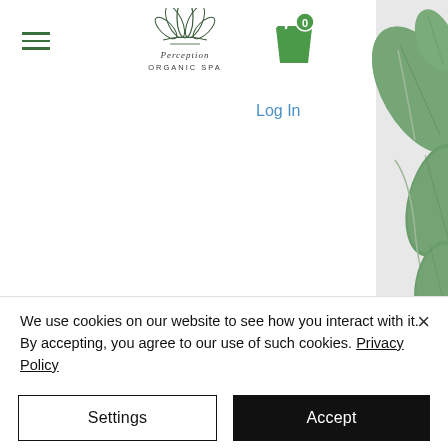[Figure (logo): Perception Organic Spa logo with lotus flower graphic and text 'Perception ORGANIC SPA']
[Figure (illustration): Green shopping bag icon with '0' badge indicating cart count]
Log In
[Figure (photo): Green eucalyptus leaves on white/light grey background, visible on right side of page]
We use cookies on our website to see how you interact with it. By accepting, you agree to our use of such cookies. Privacy Policy
Settings
Accept